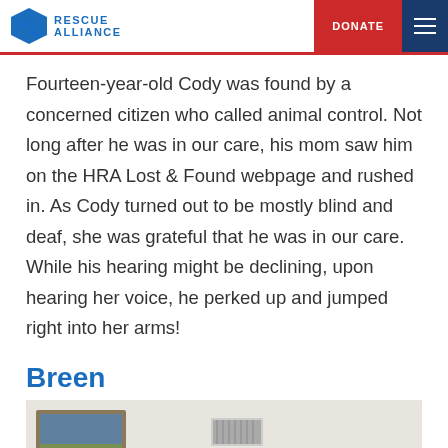RESCUE ALLIANCE | DONATE
Fourteen-year-old Cody was found by a concerned citizen who called animal control. Not long after he was in our care, his mom saw him on the HRA Lost & Found webpage and rushed in. As Cody turned out to be mostly blind and deaf, she was grateful that he was in our care. While his hearing might be declining, upon hearing her voice, he perked up and jumped right into her arms!
Breen
[Figure (photo): Indoor photo showing a room interior with a framed landscape painting on the wall, white ceiling with a vent, and partial view of a person or animal in lower right. A reCAPTCHA badge overlay is visible in the lower right corner.]